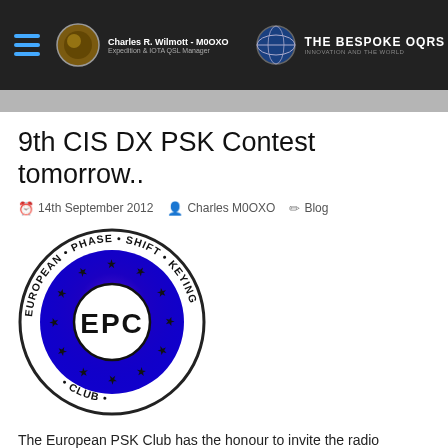Charles R. Wilmott - M0OXO | Expedition & IOTA QSL Manager | THE BESPOKE OQRS
9th CIS DX PSK Contest tomorrow..
14th September 2012   Charles M0OXO   Blog
[Figure (logo): European PSK Club (EPC) circular logo with blue background and black stars, text reads EUROPEAN PHASE SHIFT KEYING CLUB with EPC in large white letters in the center]
The European PSK Club has the honour to invite the radio